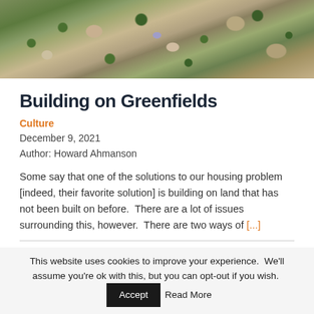[Figure (photo): Aerial view of a suburban residential neighborhood with houses, trees, driveways, and a swimming pool]
Building on Greenfields
Culture
December 9, 2021
Author: Howard Ahmanson
Some say that one of the solutions to our housing problem [indeed, their favorite solution] is building on land that has not been built on before.  There are a lot of issues surrounding this, however.  There are two ways of [...]
This website uses cookies to improve your experience.  We'll assume you're ok with this, but you can opt-out if you wish.  Accept  Read More